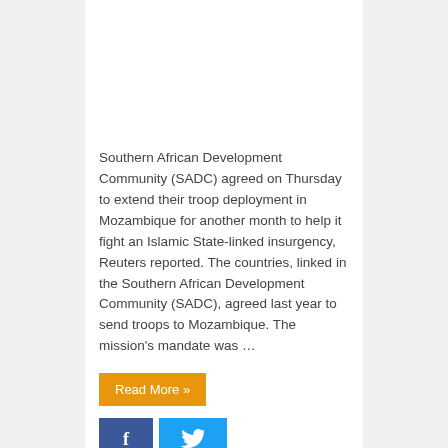Southern African Development Community (SADC) agreed on Thursday to extend their troop deployment in Mozambique for another month to help it fight an Islamic State-linked insurgency, Reuters reported. The countries, linked in the Southern African Development Community (SADC), agreed last year to send troops to Mozambique. The mission's mandate was …
Read More »
South African bloc pledges to fight jihadists in Mozambique